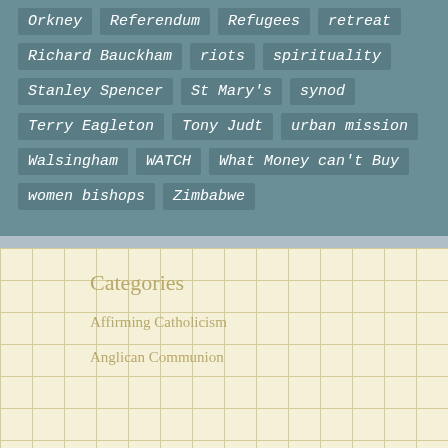Orkney
Referendum
Refugees
retreat
Richard Bauckham
riots
spirituality
Stanley Spencer
St Mary's
synod
Terry Eagleton
Tony Judt
urban mission
Walsingham
WATCH
What Money can't Buy
women bishops
Zimbabwe
Categories
Affirming Catholicism
Anglican Communion